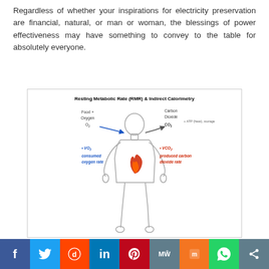Regardless of whether your inspirations for electricity preservation are financial, natural, or man or woman, the blessings of power effectiveness may have something to convey to the table for absolutely everyone.
[Figure (infographic): Diagram of Resting Metabolic Rate (RMR) & Indirect Calorimetry showing a human body outline with a flame inside. Labels indicate Food + Oxygen (O2) entering from left with blue arrow, Carbon Dioxide (CO2) exiting to right. Blue text on left: vO2 consumed oxygen rate. Red text on right: vCO2 produced carbon dioxide rate. Additional label: + ATP (heat), storage.]
f  Twitter  Reddit  in  Pinterest  MW  Mix  WhatsApp  Share